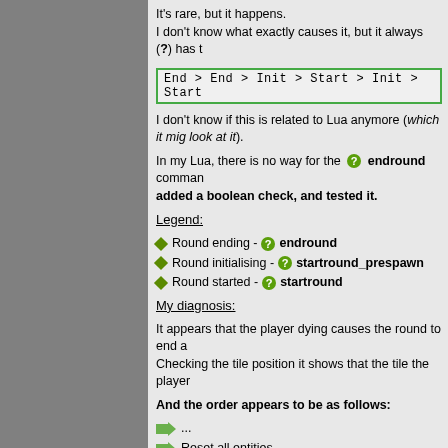It's rare, but it happens.
I don't know what exactly causes it, but it always (?) has t
End > End > Init > Start > Init > Start
I don't know if this is related to Lua anymore (which it mig look at it).
In my Lua, there is no way for the endround command added a boolean check, and tested it.
Legend:
Round ending - endround
Round initialising - startround_prespawn
Round started - startround
My diagnosis:
It appears that the player dying causes the round to end a Checking the tile position it shows that the tile the player
And the order appears to be as follows:
...
Reset all entities
(I don't know if anything happens here)
Move (living) players to spawn position
...
While it should probably be something like this:
Move (living) players to spawn position
Reset all entities
This is because the player died to the toxic floor that was caused the round to end, because that player was proba